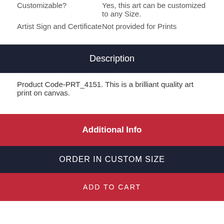| Customizable? | Yes, this art can be customized to any Size. |
| Artist Sign and Certificate | Not provided for Prints |
Description
Product Code-PRT_4151. This is a brilliant quality art print on canvas.
Additional Info
ORDER IN CUSTOM SIZE
ADD TO CART